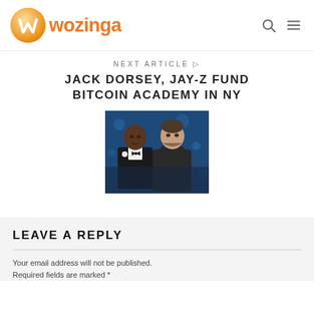wozinga
NEXT ARTICLE →
JACK DORSEY, JAY-Z FUND BITCOIN ACADEMY IN NY
[Figure (photo): Two men standing together: one in a tuxedo with bow tie (Jay-Z), one in a dark turtleneck (Jack Dorsey), against a blue-lit background]
LEAVE A REPLY
Your email address will not be published. Required fields are marked *